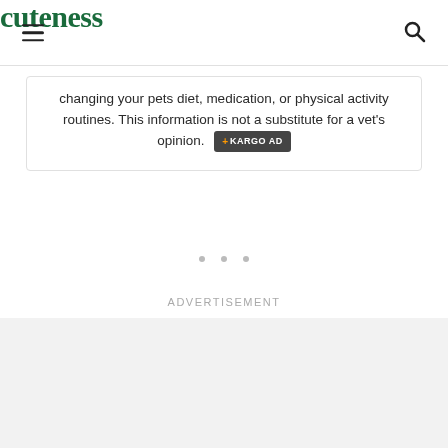cuteness
changing your pets diet, medication, or physical activity routines. This information is not a substitute for a vet's opinion.
Advertisement